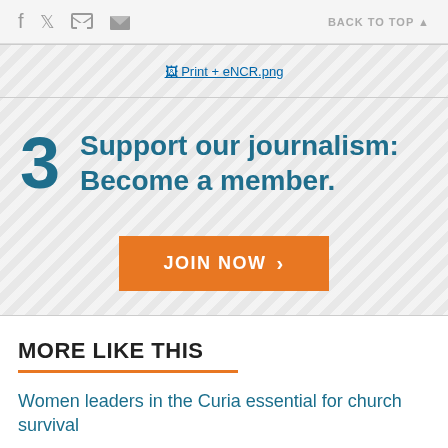f  [twitter]  [print]  [email]    BACK TO TOP ▲
[Figure (screenshot): Print + eNCR.png image link in a diagonal-striped banner]
3  Support our journalism: Become a member.
JOIN NOW >
MORE LIKE THIS
Women leaders in the Curia essential for church survival
APR 26, 2013